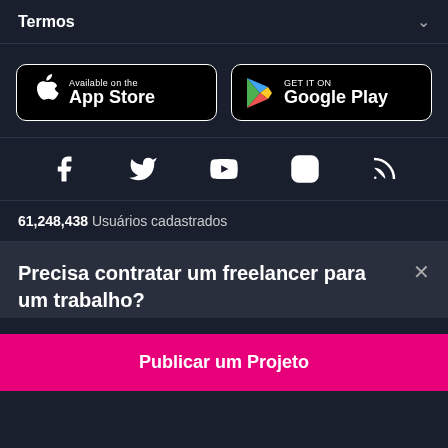Termos
[Figure (logo): App Store and Google Play download buttons]
[Figure (infographic): Social media icons: Facebook, Twitter, YouTube, Instagram, RSS]
61,248,438 Usuários cadastrados
Precisa contratar um freelancer para um trabalho?
Publicar um Projeto